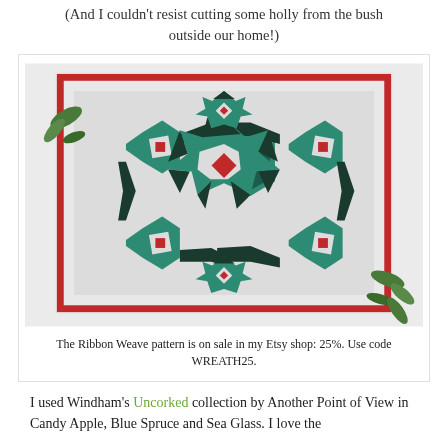(And I couldn't resist cutting some holly from the bush outside our home!)
[Figure (photo): A Christmas quilt with a Ribbon Weave pattern in teal/dark green and white with red accent squares, displayed on a white background with sprigs of greenery in the corners.]
The Ribbon Weave pattern is on sale in my Etsy shop: 25%. Use code WREATH25.
I used Windham's Uncorked collection by Another Point of View in Candy Apple, Blue Spruce and Sea Glass. I love the